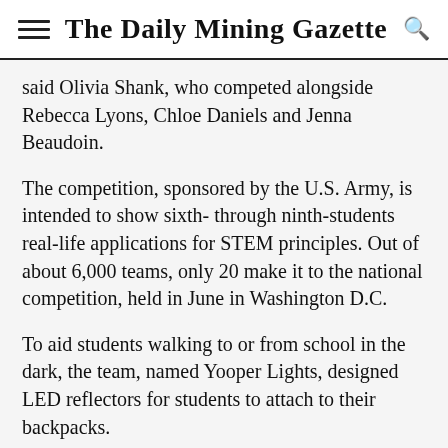The Daily Mining Gazette
said Olivia Shank, who competed alongside Rebecca Lyons, Chloe Daniels and Jenna Beaudoin.
The competition, sponsored by the U.S. Army, is intended to show sixth- through ninth-students real-life applications for STEM principles. Out of about 6,000 teams, only 20 make it to the national competition, held in June in Washington D.C.
To aid students walking to or from school in the dark, the team, named Yooper Lights, designed LED reflectors for students to attach to their backpacks.
While at Nationals, the group also did several other science-related activities, such as designing an air filter and exploring ballistics with water balloons